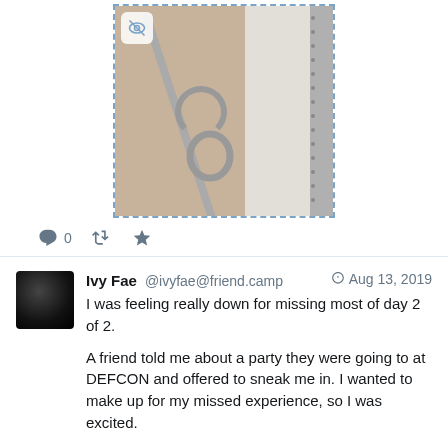[Figure (photo): Close-up photo of a safety pin or metal clasp against skin and white fabric, shown inside a dashed blue border with an eye icon overlay]
0
Ivy Fae @ivyfae@friend.camp  Aug 13, 2019
I was feeling really down for missing most of day 2 of 2.

A friend told me about a party they were going to at DEFCON and offered to sneak me in. I wanted to make up for my missed experience, so I was excited.

I went to the party and watched the goons